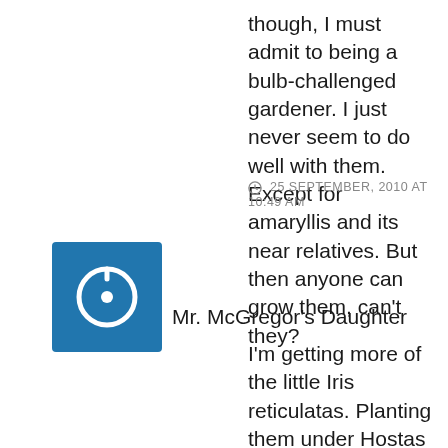though, I must admit to being a bulb-challenged gardener. I just never seem to do well with them. Except for amaryllis and its near relatives. But then anyone can grow them, can't they?
25 SEPTEMBER, 2010 AT 10:49 AM
[Figure (illustration): Blue square avatar icon with white power/user symbol]
Mr. McGregor's Daughter
I'm getting more of the little Iris reticulatas. Planting them under Hostas solved the unsightly long foliage problem. I need more bulbs for forcing, rather than in the garden, as I accidentally divided a large clump of 'Ice Follies' daffodils, and now have to find places for them in the garden.